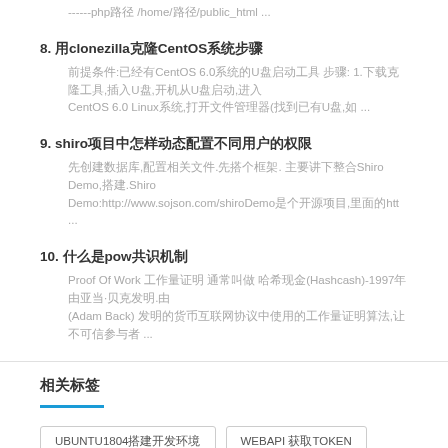------php路径 /home/路径/public_html ...
8. 用clonezilla克隆CentOS系统步骤
前提条件:已经有CentOS 6.0系统的U盘启动工具 步骤: 1.下载克隆工具,插入U盘,开机从U盘启动,进入CentOS 6.0 Linux系统,打开文件管理器(找到已有U盘,如 ...
9. shiro项目中怎样动态配置不同用户的权限
先创建数据库,配置相关文件.先搭个框架. 主要讲下整合Shiro Demo,搭建.Shiro Demo:http://www.sojson.com/shiroDemo是个开源项目,里面的htt ...
10. 什么是pow共识机制
Proof Of Work 工作量证明 通常叫做 哈希现金(Hashcash)-1997年 由亚当·贝克发明.由 (Adam Back) 发明的货币互联网协议中使用的工作量证明算法,让不可信参与者 ...
相关标签
UBUNTU1804搭建开发环境
WEBAPI 获取TOKEN